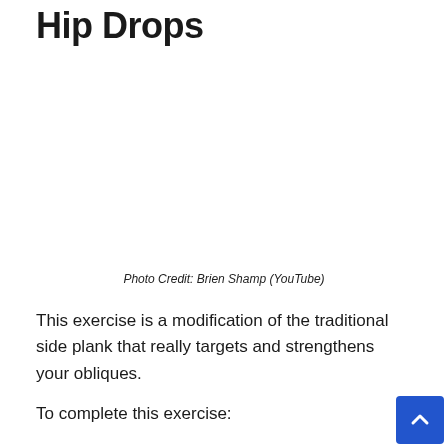Hip Drops
[Figure (photo): Blank white image placeholder for a photo of the hip drops exercise. Photo credit: Brien Shamp (YouTube)]
Photo Credit: Brien Shamp (YouTube)
This exercise is a modification of the traditional side plank that really targets and strengthens your obliques.
To complete this exercise: